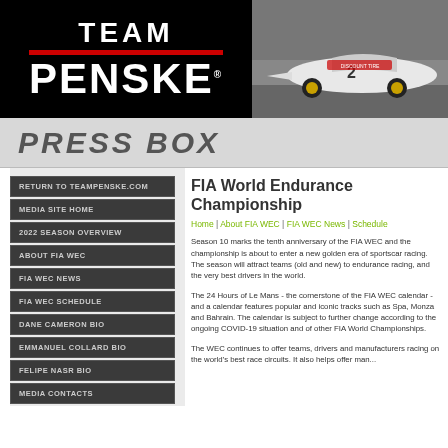[Figure (logo): Team Penske logo — white bold italic text on black background with red horizontal bar between TEAM and PENSKE]
[Figure (photo): NASCAR race car number 2 with Discount Tire livery on a racetrack]
PRESS BOX
RETURN TO TEAMPENSKE.COM
MEDIA SITE HOME
2022 SEASON OVERVIEW
ABOUT FIA WEC
FIA WEC NEWS
FIA WEC SCHEDULE
DANE CAMERON BIO
EMMANUEL COLLARD BIO
FELIPE NASR BIO
MEDIA CONTACTS
FIA World Endurance Championship
Home | About FIA WEC | FIA WEC News | Schedule
Season 10 marks the tenth anniversary of the FIA WEC and the championship is about to enter a new golden era of sportscar racing. The season will attract teams (old and new) to endurance racing, and the very best drivers in the world.
The 24 Hours of Le Mans - the cornerstone of the FIA WEC calendar - and a calendar features popular and iconic tracks such as Spa, Monza and Bahrain. The calendar is subject to further change according to the ongoing COVID-19 situation and of other FIA World Championships.
The WEC continues to offer teams, drivers and manufacturers racing on the world's best race circuits. It also helps offer manufacturers